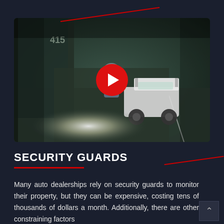[Figure (screenshot): CCTV night-vision footage thumbnail showing a golf cart in a parking lot at night, with a bright light glare and a person visible. A large red play button is centered over the image.]
SECURITY GUARDS
Many auto dealerships rely on security guards to monitor their property, but they can be expensive, costing tens of thousands of dollars a month. Additionally, there are other constraining factors